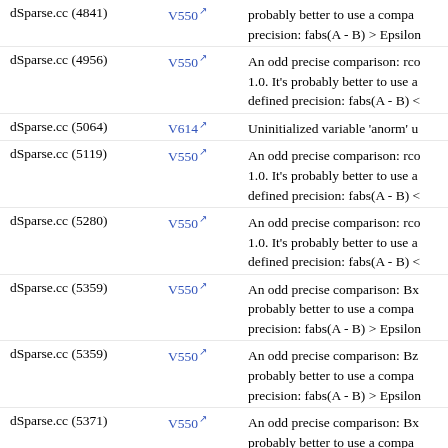| File | Code | Description |
| --- | --- | --- |
| dSparse.cc (4841) | V550 | probably better to use a compa… precision: fabs(A - B) > Epsilon |
| dSparse.cc (4956) | V550 | An odd precise comparison: rco… 1.0. It's probably better to use a defined precision: fabs(A - B) < |
| dSparse.cc (5064) | V614 | Uninitialized variable 'anorm' u |
| dSparse.cc (5119) | V550 | An odd precise comparison: rco… 1.0. It's probably better to use a defined precision: fabs(A - B) < |
| dSparse.cc (5280) | V550 | An odd precise comparison: rco… 1.0. It's probably better to use a defined precision: fabs(A - B) < |
| dSparse.cc (5359) | V550 | An odd precise comparison: Bx… probably better to use a compa… precision: fabs(A - B) > Epsilon |
| dSparse.cc (5359) | V550 | An odd precise comparison: Bz… probably better to use a compa… precision: fabs(A - B) > Epsilon |
| dSparse.cc (5371) | V550 | An odd precise comparison: Bx… probably better to use a compa… precision: fabs(A - B) > Epsilon |
| dSparse.cc (5371) | V550 | An odd precise comparison: Bz… probably better to use a compa… precision: fabs(A - B) > Epsilon |
| dSparse.cc (5418) | V614 | Uninitialized variable… |